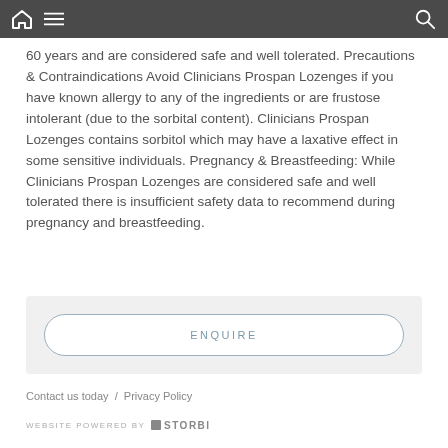60 years and are considered safe and well tolerated. Precautions & Contraindications Avoid Clinicians Prospan Lozenges if you have known allergy to any of the ingredients or are frustose intolerant (due to the sorbital content). Clinicians Prospan Lozenges contains sorbitol which may have a laxative effect in some sensitive individuals. Pregnancy & Breastfeeding: While Clinicians Prospan Lozenges are considered safe and well tolerated there is insufficient safety data to recommend during pregnancy and breastfeeding.
ENQUIRE
Contact us today / Privacy Policy
WEBSITE POWERED BY STORBIE